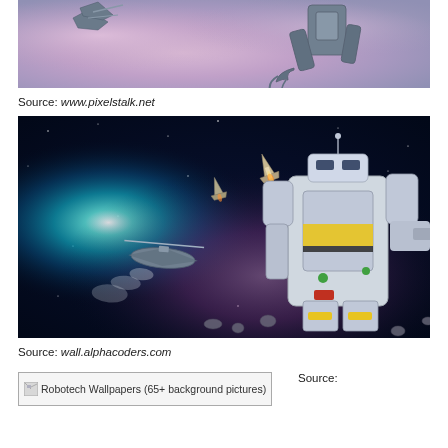[Figure (illustration): Cropped illustration of a mech/robot figure and aircraft in a pinkish-purple sky, Robotech artwork]
Source: www.pixelstalk.net
[Figure (illustration): Robotech/Macross space battle scene with mecha robot and fighter jets against teal nebula and purple asteroid field background]
Source: wall.alphacoders.com
[Figure (screenshot): Broken image placeholder with alt text 'Robotech Wallpapers (65+ background pictures)']
Source: